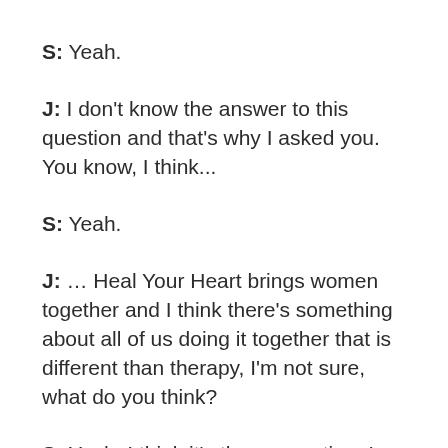S: Yeah.
J: I don't know the answer to this question and that's why I asked you. You know, I think...
S: Yeah.
J: … Heal Your Heart brings women together and I think there's something about all of us doing it together that is different than therapy, I'm not sure, what do you think?
S: Yeah, I think it's the connection. I